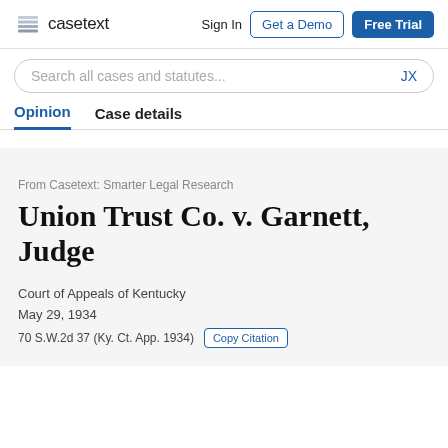casetext  Sign In  Get a Demo  Free Trial
Search all cases and statutes...  JX
Opinion  Case details
From Casetext: Smarter Legal Research
Union Trust Co. v. Garnett, Judge
Court of Appeals of Kentucky
May 29, 1934